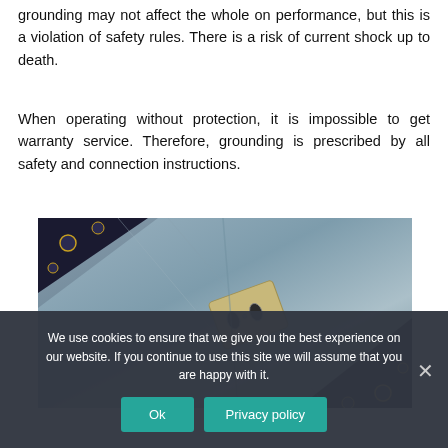grounding may not affect the whole on performance, but this is a violation of safety rules. There is a risk of current shock up to death.
When operating without protection, it is impossible to get warranty service. Therefore, grounding is prescribed by all safety and connection instructions.
[Figure (photo): Photo of a gray fabric/cloth with a dark floral patterned background, and an old-style electrical outlet cover plate visible in the center of the fabric.]
We use cookies to ensure that we give you the best experience on our website. If you continue to use this site we will assume that you are happy with it.